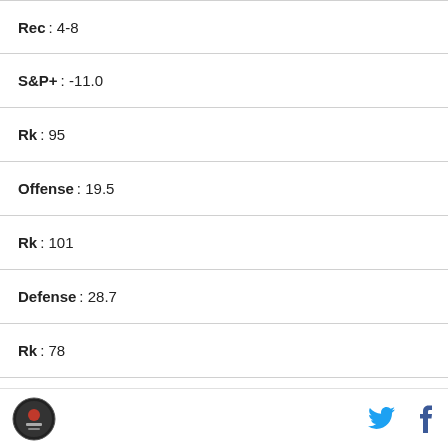Rec : 4-8
S&P+ : -11.0
Rk : 95
Offense : 19.5
Rk : 101
Defense : 28.7
Rk : 78
ST : -1.8
Rk : 111
Team : UNLV
Rec : 5-7